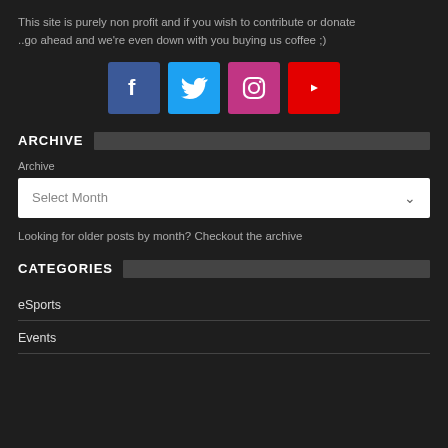This site is purely non profit and if you wish to contribute or donate ..go ahead and we're even down with you buying us coffee ;)
[Figure (illustration): Four social media icon buttons: Facebook (blue), Twitter (light blue), Instagram (purple/pink), YouTube (red)]
ARCHIVE
Archive
Select Month
Looking for older posts by month? Checkout the archive
CATEGORIES
eSports
Events